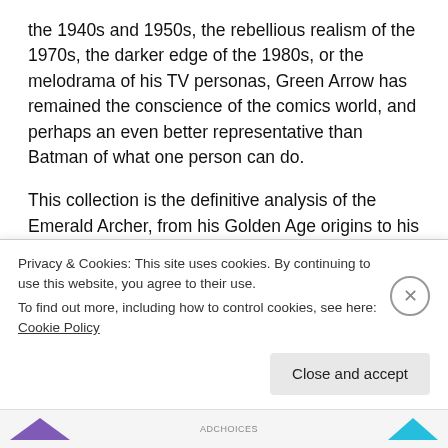the 1940s and 1950s, the rebellious realism of the 1970s, the darker edge of the 1980s, or the melodrama of his TV personas, Green Arrow has remained the conscience of the comics world, and perhaps an even better representative than Batman of what one person can do.
This collection is the definitive analysis of the Emerald Archer, from his Golden Age origins to his small screen adventures and beyond. Exploring overlooked chapters of Green Arrow's life, and those of alter ego Oliver Queen, this book shows that Green Arrow has never
Privacy & Cookies: This site uses cookies. By continuing to use this website, you agree to their use.
To find out more, including how to control cookies, see here: Cookie Policy
Close and accept